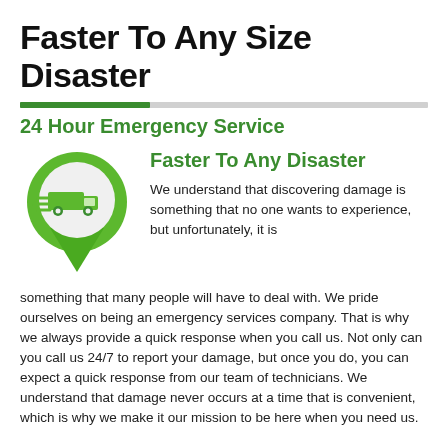Faster To Any Size Disaster
24 Hour Emergency Service
[Figure (illustration): Green map pin / location marker icon containing a white circle with a green delivery truck moving fast (speed lines), used as a logo or service icon.]
Faster To Any Disaster
We understand that discovering damage is something that no one wants to experience, but unfortunately, it is something that many people will have to deal with. We pride ourselves on being an emergency services company. That is why we always provide a quick response when you call us. Not only can you call us 24/7 to report your damage, but once you do, you can expect a quick response from our team of technicians. We understand that damage never occurs at a time that is convenient, which is why we make it our mission to be here when you need us.